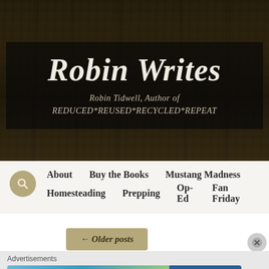[Figure (photo): Forest/nature background photo with trees and dark foliage forming the header banner of the Robin Writes blog]
Robin Writes
Robin Tidwell, Author of REDUCED*REUSED*RECYCLED*REPEAT
[Figure (other): Search icon — circular gold/tan button with magnifying glass symbol]
About
Buy the Books
Mustang Madness
Homesteading
Prepping
Op-Ed
Fan Friday
← Older posts
Advertisements
[Figure (screenshot): WordPress advertisement banner: 'Create immersive stories.' with GET THE APP and WordPress logo on blue background]